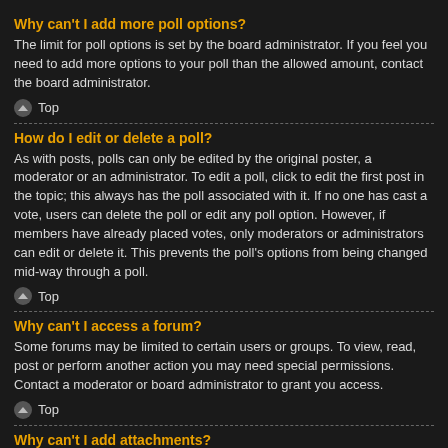Why can't I add more poll options?
The limit for poll options is set by the board administrator. If you feel you need to add more options to your poll than the allowed amount, contact the board administrator.
Top
How do I edit or delete a poll?
As with posts, polls can only be edited by the original poster, a moderator or an administrator. To edit a poll, click to edit the first post in the topic; this always has the poll associated with it. If no one has cast a vote, users can delete the poll or edit any poll option. However, if members have already placed votes, only moderators or administrators can edit or delete it. This prevents the poll's options from being changed mid-way through a poll.
Top
Why can't I access a forum?
Some forums may be limited to certain users or groups. To view, read, post or perform another action you may need special permissions. Contact a moderator or board administrator to grant you access.
Top
Why can't I add attachments?
Attachment permissions are granted on a per forum, per group, or per user